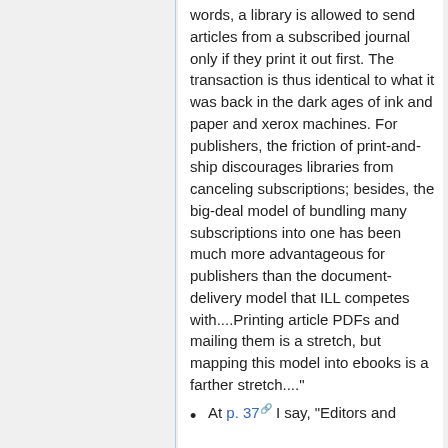words, a library is allowed to send articles from a subscribed journal only if they print it out first. The transaction is thus identical to what it was back in the dark ages of ink and paper and xerox machines. For publishers, the friction of print-and-ship discourages libraries from canceling subscriptions; besides, the big-deal model of bundling many subscriptions into one has been much more advantageous for publishers than the document-delivery model that ILL competes with....Printing article PDFs and mailing them is a stretch, but mapping this model into ebooks is a farther stretch...."e
At p. 37, I say, "Editors and